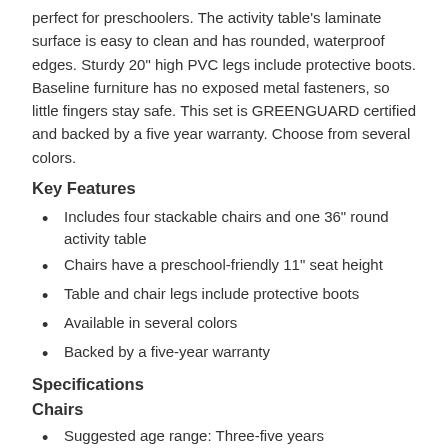perfect for preschoolers. The activity table's laminate surface is easy to clean and has rounded, waterproof edges. Sturdy 20" high PVC legs include protective boots. Baseline furniture has no exposed metal fasteners, so little fingers stay safe. This set is GREENGUARD certified and backed by a five year warranty. Choose from several colors.
Key Features
Includes four stackable chairs and one 36" round activity table
Chairs have a preschool-friendly 11" seat height
Table and chair legs include protective boots
Available in several colors
Backed by a five-year warranty
Specifications
Chairs
Suggested age range: Three-five years